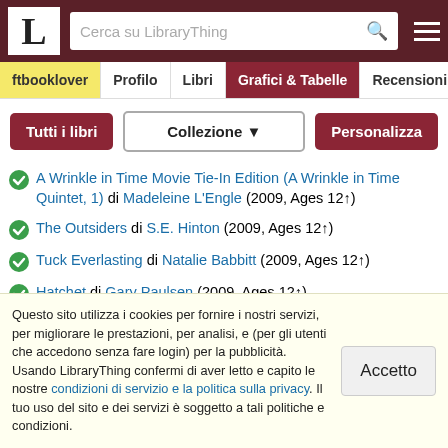L — Cerca su LibraryThing
ftbooklover | Profilo | Libri | Grafici & Tabelle | Recensioni
Tutti i libri  Collezione ▼  Personalizza
A Wrinkle in Time Movie Tie-In Edition (A Wrinkle in Time Quintet, 1) di Madeleine L'Engle (2009, Ages 12↑)
The Outsiders di S.E. Hinton (2009, Ages 12↑)
Tuck Everlasting di Natalie Babbitt (2009, Ages 12↑)
Hatchet di Gary Paulsen (2009, Ages 12↑)
Walk Two Moons (Summer Reading Edition) di Sharon Creech (2009, Ages 12↑)
Twilight (The Twilight Saga, Book 1) di Stephenie Meyer (2009...
Questo sito utilizza i cookies per fornire i nostri servizi, per migliorare le prestazioni, per analisi, e (per gli utenti che accedono senza fare login) per la pubblicità. Usando LibraryThing confermi di aver letto e capito le nostre condizioni di servizio e la politica sulla privacy. Il tuo uso del sito e dei servizi è soggetto a tali politiche e condizioni.  [Accetto]